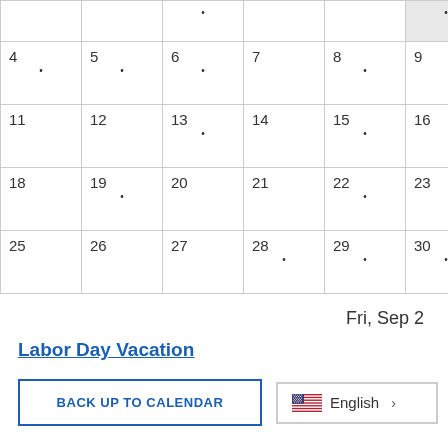|  |  | • |  |  | • | • |
| 4• | 5• | 6• | 7 | 8• | 9 | 10 |
| 11 | 12 | 13• | 14 | 15• | 16 | 17 |
| 18 | 19• | 20 | 21 | 22• | 23 | 24 |
| 25 | 26 | 27 | 28• | 29• | 30• | 1• |
Fri, Sep 2
Labor Day Vacation
BACK UP TO CALENDAR
English